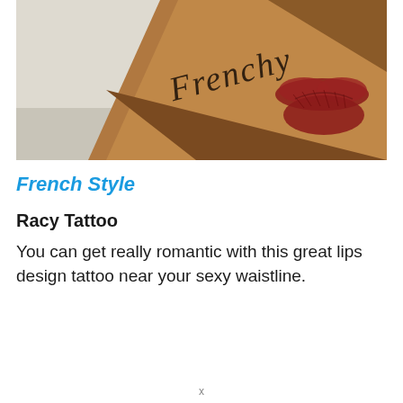[Figure (photo): Close-up photo of a tattoo on skin showing the cursive word 'Frenchy' and a red lips/kiss mark tattoo near the waistline area.]
French Style
Racy Tattoo
You can get really romantic with this great lips design tattoo near your sexy waistline.
x